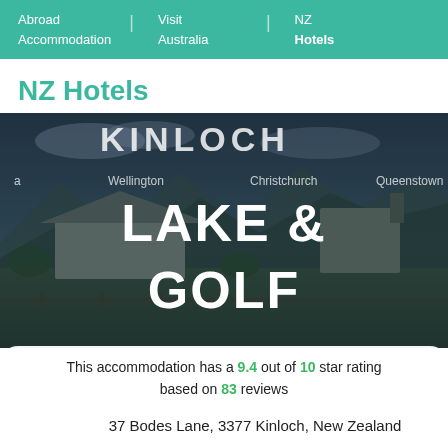Abroad Accommodation | Visit Australia | NZ Hotels
NZ Hotels
[Figure (photo): Hero image of Kinloch Lake & Golf accommodation with text overlay reading LAKE & GOLF, location navigation showing Wellington, Christchurch, Queenstown, and a dark scenic background of a property with mountains]
This accommodation has a 9.4 out of 10 star rating based on 83 reviews
37 Bodes Lane, 3377 Kinloch, New Zealand
it 9.4 for a two-person trip.
Kinloch